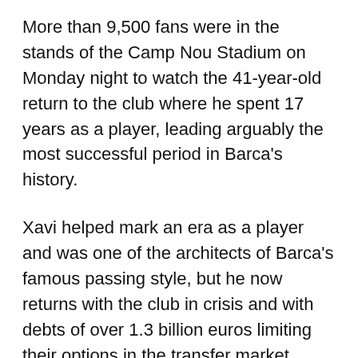More than 9,500 fans were in the stands of the Camp Nou Stadium on Monday night to watch the 41-year-old return to the club where he spent 17 years as a player, leading arguably the most successful period in Barca's history.
Xavi helped mark an era as a player and was one of the architects of Barca's famous passing style, but he now returns with the club in crisis and with debts of over 1.3 billion euros limiting their options in the transfer market.
Barca are currently ninth in La Liga, 11 points behind league leaders Real Sociedad and 10 behind eternal rivals Real Madrid, with injuries to key players not helping dressing room confidence, reports Xinhua. “My idea is to help the players. I understand that Barca is difficult,” said Xavi, who said the “psychological issue is very hard and we are going to help them on a personal level. It is not about being tough.